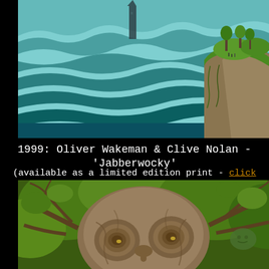[Figure (illustration): Fantasy landscape painting showing a vast sea of cloud-like waves with a rocky cliff on the right side topped with green trees and small figures, and a dark tower or structure visible in the background on the left]
1999: Oliver Wakeman & Clive Nolan - 'Jabberwocky'
(available as a limited edition print - click here for more details)
[Figure (illustration): Surreal tree creature with a large gnarled trunk forming a face-like shape with two circular eye-like patterns, branches extending outward, set against a green leafy background]